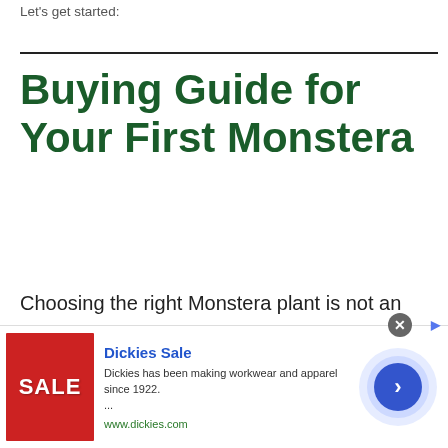Let's get started:
Buying Guide for Your First Monstera
Choosing the right Monstera plant is not an easy task. Various factors come into play when making your choice.
[Figure (infographic): Advertisement banner for Dickies Sale showing red SALE image, text 'Dickies Sale — Dickies has been making workwear and apparel since 1922. ... www.dickies.com', with a blue circular call-to-action arrow button and close button.]